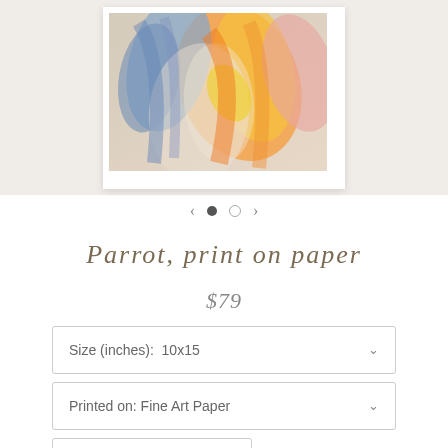[Figure (photo): Close-up abstract photograph of a colorful parrot with blue, yellow, orange, and pink feathers, displayed in a white-framed print on a beige background]
Parrot, print on paper
$79
Size (inches): 10x15
Printed on: Fine Art Paper
— 1 +